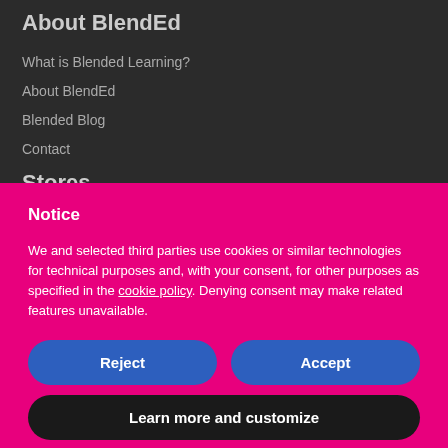About BlendEd
What is Blended Learning?
About BlendEd
Blended Blog
Contact
Stores
Notice
We and selected third parties use cookies or similar technologies for technical purposes and, with your consent, for other purposes as specified in the cookie policy. Denying consent may make related features unavailable.
Reject
Accept
Learn more and customize